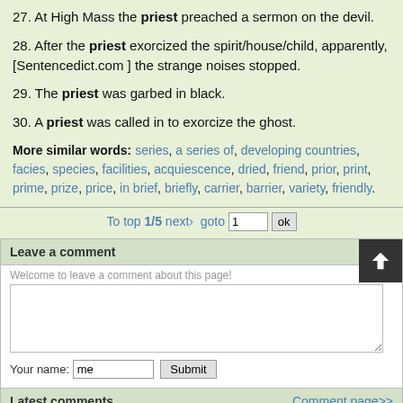27. At High Mass the priest preached a sermon on the devil.
28. After the priest exorcized the spirit/house/child, apparently, [Sentencedict.com ] the strange noises stopped.
29. The priest was garbed in black.
30. A priest was called in to exorcize the ghost.
More similar words: series, a series of, developing countries, facies, species, facilities, acquiescence, dried, friend, prior, print, prime, prize, price, in brief, briefly, carrier, barrier, variety, friendly.
To top 1/5 next› goto 1 ok
Leave a comment
Welcome to leave a comment about this page!
Your name: me Submit
Latest comments  Comment page>>